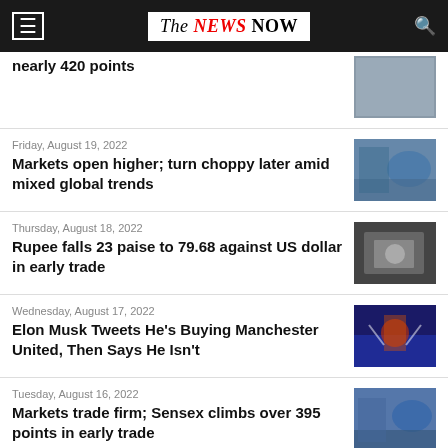The NEWS NOW
nearly 420 points
Friday, August 19, 2022
Markets open higher; turn choppy later amid mixed global trends
Thursday, August 18, 2022
Rupee falls 23 paise to 79.68 against US dollar in early trade
Wednesday, August 17, 2022
Elon Musk Tweets He's Buying Manchester United, Then Says He Isn't
Tuesday, August 16, 2022
Markets trade firm; Sensex climbs over 395 points in early trade